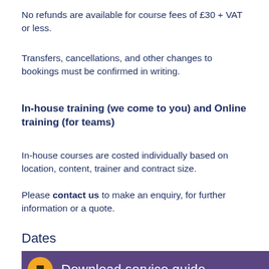No refunds are available for course fees of £30 + VAT or less.
Transfers, cancellations, and other changes to bookings must be confirmed in writing.
In-house training (we come to you) and Online training (for teams)
In-house courses are costed individually based on location, content, trainer and contract size.
Please contact us to make an enquiry, for further information or a quote.
Dates
[Figure (other): Purple banner with orange circle icon and partial text 'Download service guide']